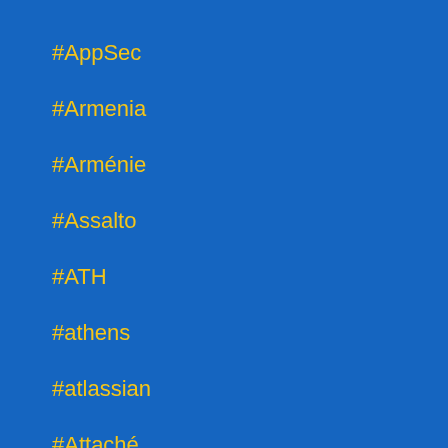#AppSec
#Armenia
#Arménie
#Assalto
#ATH
#athens
#atlassian
#Attaché
#author